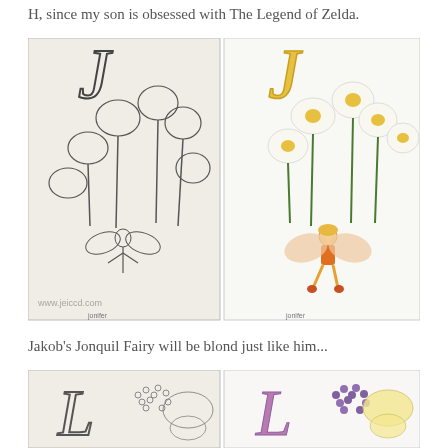H, since my son is obsessed with The Legend of Zelda.
[Figure (photo): Two side-by-side coloring book pages showing the letter J with daffodils and a fairy. Left page is uncolored line art; right page is colored with yellow daffodils and an orange-dressed fairy with blond hair.]
Jakob's Jonquil Fairy will be blond just like him...
[Figure (photo): Two side-by-side coloring book pages showing the letter L with lilac flowers and a butterfly fairy. Left page is uncolored line art; right page is colored with purple lilacs and a yellow fairy.]